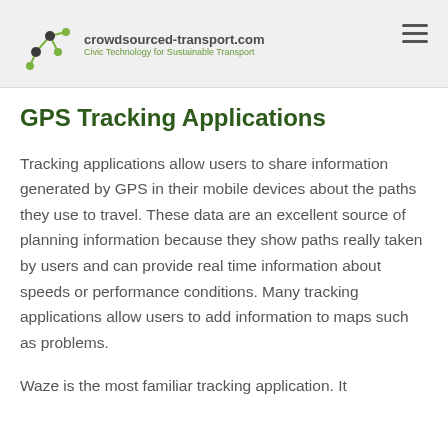crowdsourced-transport.com — Civic Technology for Sustainable Transport
GPS Tracking Applications
Tracking applications allow users to share information generated by GPS in their mobile devices about the paths they use to travel. These data are an excellent source of planning information because they show paths really taken by users and can provide real time information about speeds or performance conditions. Many tracking applications allow users to add information to maps such as problems.
Waze is the most familiar tracking application. It